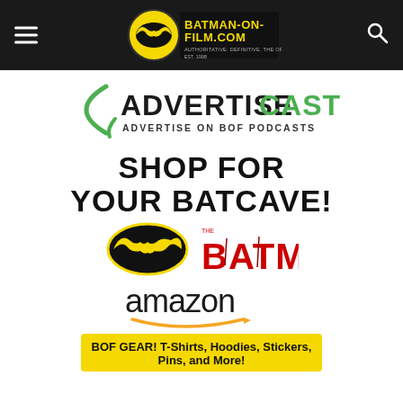BATMAN-ON-FILM.COM AUTHORITATIVE. DEFINITIVE. THE ORIGINAL EST. 1998
[Figure (logo): AdvertiseCast logo with green arc and text 'ADVERTISECAST ADVERTISE ON BOF PODCASTS']
[Figure (illustration): Shop for your Batcave promotional image with Batman logo, The Batman movie logo, and Amazon logo]
[Figure (illustration): BOF GEAR! T-Shirts, Hoodies, Stickers, Pins, and More! yellow banner with Batman silhouettes at bottom]